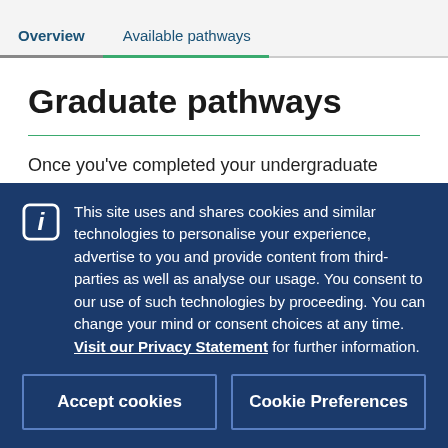Overview   Available pathways
Graduate pathways
Once you've completed your undergraduate degree, you can go on to gain employment or begin a graduate degree and work towards a professional qualification such as law,
This site uses and shares cookies and similar technologies to personalise your experience, advertise to you and provide content from third-parties as well as analyse our usage. You consent to our use of such technologies by proceeding. You can change your mind or consent choices at any time. Visit our Privacy Statement for further information.
Accept cookies
Cookie Preferences